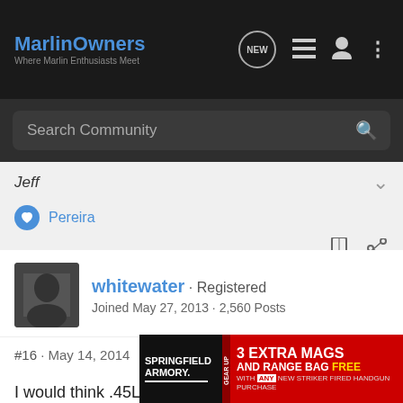MarlinOwners - Where Marlin Enthusiasts Meet
Search Community
Jeff
Pereira
whitewater · Registered
Joined May 27, 2013 · 2,560 Posts
#16 · May 14, 2014
I would think .45LC would be an excellent round for whitetail especially in places with fairly thick cover that afford shots less than 100 yards. Ohio comes to mind now that they will allow pistol ca... ner great ch...
[Figure (screenshot): Springfield Armory advertisement: 3 Extra Mags and Range Bag Free with any new striker fired handgun purchase]